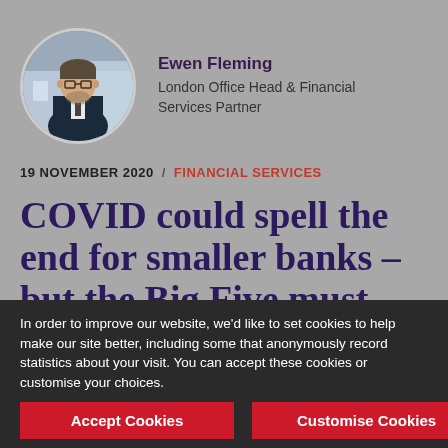[Figure (photo): Circular profile photo of Ewen Fleming, a man in a dark suit with glasses, photographed in an office setting]
Ewen Fleming
London Office Head & Financial Services Partner
19 NOVEMBER 2020  /  FINANCIAL SERVICES
COVID could spell the end for smaller banks – but the Big Five must learn from
In order to improve our website, we'd like to set cookies to help make our site better, including some that anonymously record statistics about your visit. You can accept these cookies or customise your choices.
Accept Cookies
Customise Cookies
X